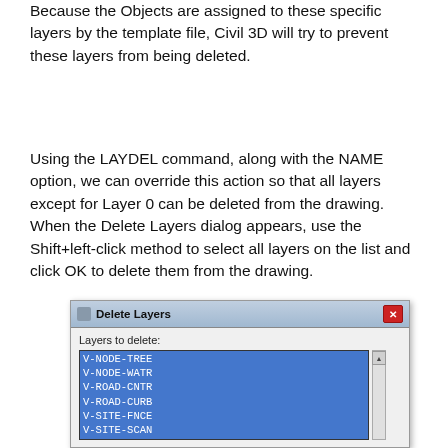Because the Objects are assigned to these specific layers by the template file, Civil 3D will try to prevent these layers from being deleted.
Using the LAYDEL command, along with the NAME option, we can override this action so that all layers except for Layer 0 can be deleted from the drawing. When the Delete Layers dialog appears, use the Shift+left-click method to select all layers on the list and click OK to delete them from the drawing.
[Figure (screenshot): Screenshot of AutoCAD 'Delete Layers' dialog box showing a list of selected layers highlighted in blue including V-NODE-TREE, V-NODE-WATR, V-ROAD-CNTR, V-ROAD-CURB, V-SITE-FNCE, V-SITE-SCAN, V-SITE-VEGE, V-SURV-FIGR (partially visible), with a scrollbar on the right side.]